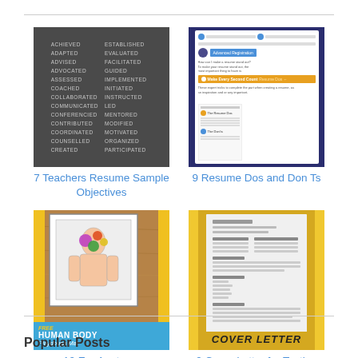[Figure (photo): Chalkboard with two columns of action verbs: ADAPTED, ADVISED, ADVOCATED, ASSESSED, COACHED, COLLABORATED, COMMUNICATED, CONFERENCIED, CONTRIBUTED, COORDINATED, COUNSELLED, CREATED / EVALUATED, FACILITATED, GUIDED, IMPLEMENTED, INITIATED, INSTRUCTED, LED, MENTORED, MODIFIED, MOTIVATED, ORGANIZED, PARTICIPATED]
7 Teachers Resume Sample Objectives
[Figure (screenshot): Screenshot of a resume tips webpage with dark blue background showing 'Make Every Second Count' highlighted section with resume dos and don'ts annotations]
9 Resume Dos and Don Ts
[Figure (photo): Photo of a printed Human Body Playdough Mat worksheet on a wooden surface with colorful clay blobs on it, with banner reading FREE HUMAN BODY Playdough Mat]
10 Ear Anatomy Worksheets
[Figure (photo): Photo of a cover letter document on a yellow/gold background showing formatted text, with COVER LETTER text visible at bottom]
9 Cover Letter for Testing Resume
Popular Posts